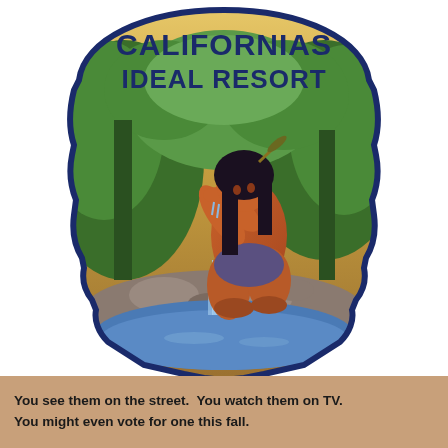[Figure (illustration): Vintage arrowhead-shaped badge/emblem with text 'CALIFORNIAS IDEAL RESORT' at top in dark blue letters on a golden/tan background. The badge depicts a Native American woman crouching by a stream or waterfall in a lush green forested setting, cupping water in her hands to drink. The scene includes rocks, foliage, trees, and water with a small waterfall. The badge has an irregular pointed bottom shape outlined in dark blue.]
You see them on the street.  You watch them on TV.
You might even vote for one this fall.